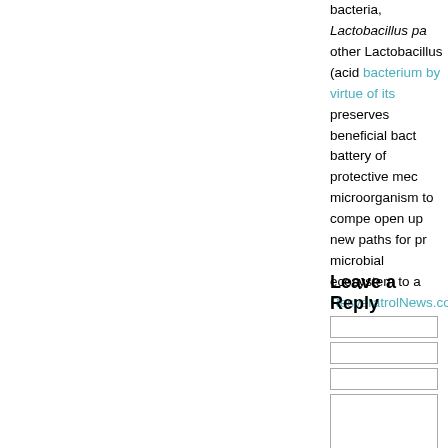bacteria, Lactobacillus pa other Lactobacillus (acid bacterium by virtue of its preserves beneficial bact battery of protective mec microorganism to compe open up new paths for pr microbial ecosystem to a ResveratrolNews.com
Leave a Reply